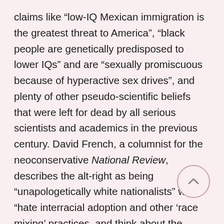claims like “low-IQ Mexican immigration is the greatest threat to America”, “black people are genetically predisposed to lower IQs” and are “sexually promiscuous because of hyperactive sex drives”, and plenty of other pseudo-scientific beliefs that were left for dead by all serious scientists and academics in the previous century. David French, a columnist for the neoconservative National Review, describes the alt-right as being “unapologetically white nationalists” who “hate interracial adoption and other ‘race mixing’ practices, and think about the issue of immigration primarily, if not exclusively, in racial terms.” Those who are attempting to now whitewash the alt-right and paint its followers as being just extremely conservative with some racist tendencies are intentionally ignoring the statements the founders and leaders of the alt-right movement in the first place. When the Washington Post wrote an account of the rising group of white nationalists earlier this year